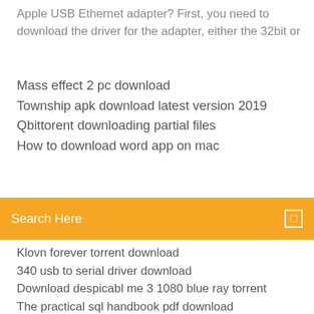Apple USB Ethernet adapter? First, you need to download the driver for the adapter, either the 32bit or
Mass effect 2 pc download
Township apk download latest version 2019
Qbittorent downloading partial files
How to download word app on mac
Search Here
Klovn forever torrent download
340 usb to serial driver download
Download despicabl me 3 1080 blue ray torrent
The practical sql handbook pdf download
Free keyboard download for pc
Download product data file in amazon
Free download iobit uninstaller full version
Lost disk to pc game can i download
Baskin robbins app download
Plumber game download for pc